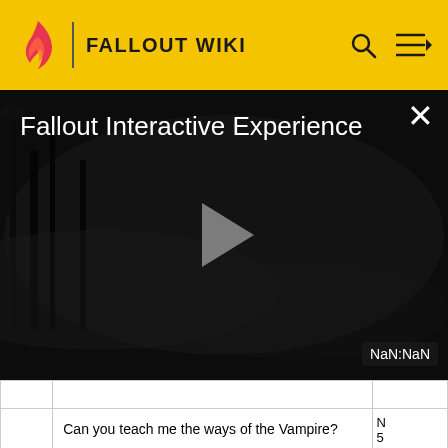FALLOUT WIKI
[Figure (screenshot): Fallout Interactive Experience video player overlay showing dark post-apocalyptic scene with play button in center, title text top-left, close button top-right, and NaN:NaN time display bottom-right]
|  | Can you teach me the ways of the Vampire? | N 5 |
|  |  | N |